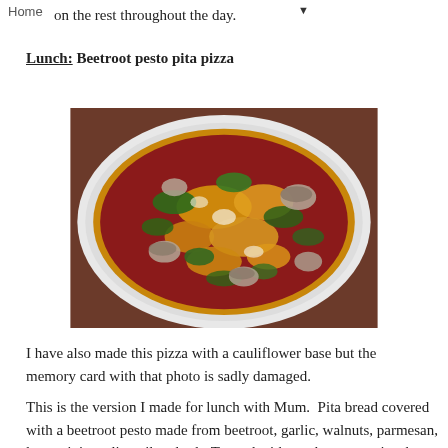Home
on the rest throughout the day.
Lunch: Beetroot pesto pita pizza
[Figure (photo): Top-down photo of a pita pizza with beetroot pesto base, topped with mushrooms, spinach/greens, feta and mozzarella cheese, served on a white plate on a wooden table.]
I have also made this pizza with a cauliflower base but the memory card with that photo is sadly damaged.
This is the version I made for lunch with Mum.  Pita bread covered with a beetroot pesto made from beetroot, garlic, walnuts, parmesan, lemon juice, olive oil and salt. Topped with mushrooms, spinach, feta and mozzarella. Delicious.  Adapted from this recipe